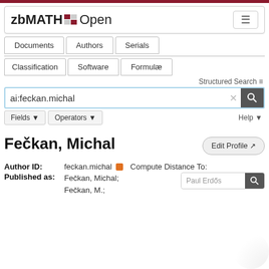[Figure (screenshot): zbMATH Open website header logo with hamburger menu button]
Documents | Authors | Serials | Classification | Software | Formulae
Structured Search
ai:feckan.michal
Fields ▼   Operators ▼   Help ▼
Fečkan, Michal
Edit Profile
Author ID: feckan.michal   Compute Distance To:
Published as: Fečkan, Michal; Fečkan, M.;
Paul Erdős